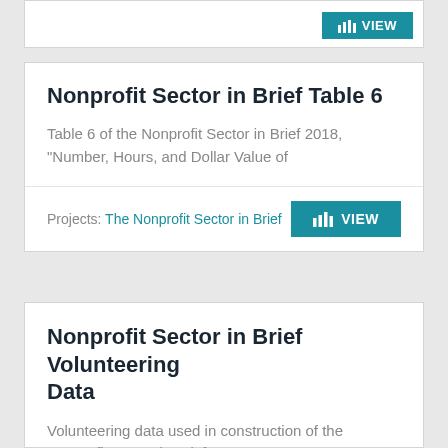[Figure (screenshot): Partial card from above with a teal VIEW button partially visible]
Nonprofit Sector in Brief Table 6
Table 6 of the Nonprofit Sector in Brief 2018, "Number, Hours, and Dollar Value of
Projects: The Nonprofit Sector in Brief
[Figure (other): Teal VIEW button with bar chart icon]
Nonprofit Sector in Brief Volunteering Data
Volunteering data used in construction of the Nonprofit Sector in Brief 2018